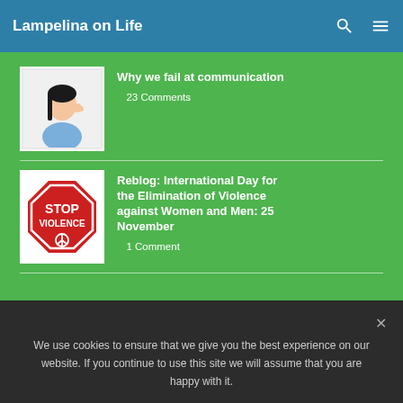Lampelina on Life
Why we fail at communication
23 Comments
Reblog: International Day for the Elimination of Violence against Women and Men: 25 November
1 Comment
We use cookies to ensure that we give you the best experience on our website. If you continue to use this site we will assume that you are happy with it.